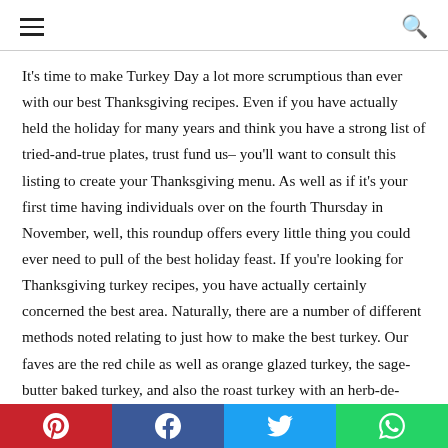≡  🔍
It's time to make Turkey Day a lot more scrumptious than ever with our best Thanksgiving recipes. Even if you have actually held the holiday for many years and think you have a strong list of tried-and-true plates, trust fund us– you'll want to consult this listing to create your Thanksgiving menu. As well as if it's your first time having individuals over on the fourth Thursday in November, well, this roundup offers every little thing you could ever need to pull of the best holiday feast. If you're looking for Thanksgiving turkey recipes, you have actually certainly concerned the best area. Naturally, there are a number of different methods noted relating to just how to make the best turkey. Our faves are the red chile as well as orange glazed turkey, the sage-butter baked turkey, and also the roast turkey with an herb-de-provence rub. There are also
Pinterest | Facebook | Twitter | WhatsApp